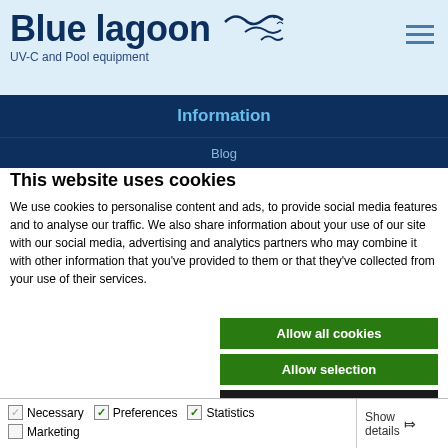Blue lagoon — UV-C and Pool equipment
Information
Blog
This website uses cookies
We use cookies to personalise content and ads, to provide social media features and to analyse our traffic. We also share information about your use of our site with our social media, advertising and analytics partners who may combine it with other information that you've provided to them or that they've collected from your use of their services.
Allow all cookies
Allow selection
Use necessary cookies only
Necessary  Preferences  Statistics  Marketing  Show details